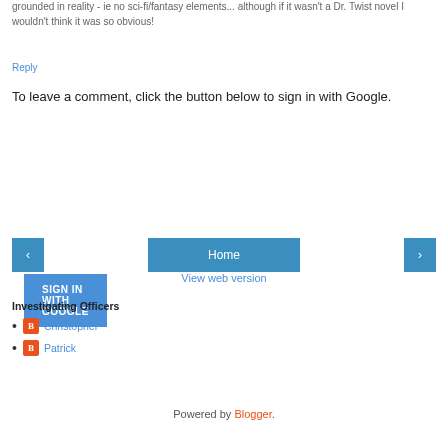grounded in reality - ie no sci-fi/fantasy elements... although if it wasn't a Dr. Twist novel I wouldn't think it was so obvious!
Reply
To leave a comment, click the button below to sign in with Google.
SIGN IN WITH GOOGLE
[Figure (other): Navigation bar with left arrow button, Home button, and right arrow button]
View web version
Investigating Officers
Christopher
Patrick
Powered by Blogger.